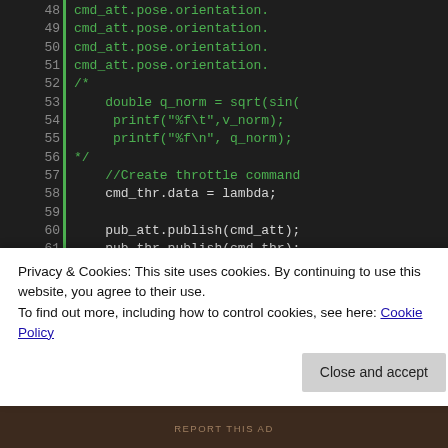[Figure (screenshot): Code editor screenshot showing C++ ROS code, lines 48-69, with line numbers on left, green vertical bar separator, and syntax-highlighted code including green comments, pink function name 'sin', and white code on dark background.]
Privacy & Cookies: This site uses cookies. By continuing to use this website, you agree to their use.
To find out more, including how to control cookies, see here: Cookie Policy
Close and accept
REPORT THIS AD